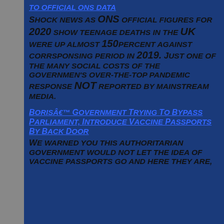TO OFFICIAL ONS DATA
SHOCK NEWS AS ONS OFFICIAL FIGURES FOR 2020 SHOW TEENAGE DEATHS IN THE UK WERE UP ALMOST 150PERCENT AGAINST CORRSPONSING PERIOD IN 2019. JUST ONE OF THE MANY SOCIAL COSTS OF THE GOVERNMEN'S OVER-THE-TOP PANDEMIC RESPONSE NOT REPORTED BY MAINSTREAM MEDIA.
BORISÂ€™ GOVERNMENT TRYING TO BYPASS PARLIAMENT, INTRODUCE VACCINE PASSPORTS BY BACK DOOR
WE WARNED YOU THIS AUTHORITARIAN GOVERNMENT WOULD NOT LET THE IDEA OF VACCINE PASSPORTS GO AND HERE THEY ARE,